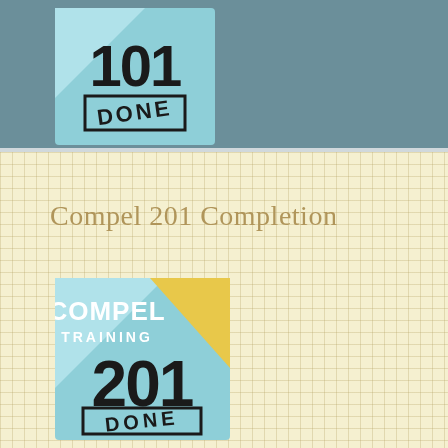[Figure (logo): Compel Training 101 DONE logo - light blue square with diagonal lighter triangle, large bold '101' text and 'DONE' stamp text below]
Compel 201 Completion
[Figure (logo): Compel Training 201 DONE logo - light blue and yellow square with 'COMPEL TRAINING' text at top, large bold '201' and 'DONE' stamp text below]